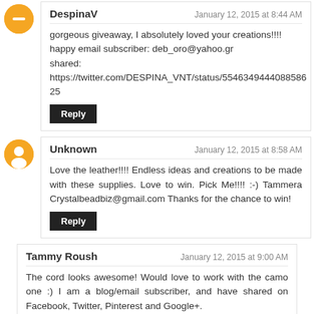DespinaV — January 12, 2015 at 8:44 AM
gorgeousgiveaway, I absolutely loved your creations!!!!
happy email subscriber: deb_oro@yahoo.gr
shared: https://twitter.com/DESPINA_VNT/status/554634944408858625
Unknown — January 12, 2015 at 8:58 AM
Love the leather!!!! Endless ideas and creations to be made with these supplies. Love to win. Pick Me!!! :-) Tammera Crystalbeadbiz@gmail.com Thanks for the chance to win!
Tammy Roush — January 12, 2015 at 9:00 AM
The cord looks awesome! Would love to work with the camo one :) I am a blog/email subscriber, and have shared on Facebook, Twitter, Pinterest and Google+.
Thanks for the chance to win ;)